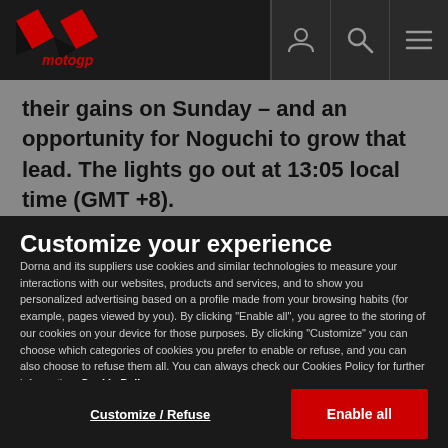MotoGP logo with navigation icons (user, search, menu)
their gains on Sunday – and an opportunity for Noguchi to grow that lead. The lights go out at 13:05 local time (GMT +8).
Customize your experience
Dorna and its suppliers use cookies and similar technologies to measure your interactions with our websites, products and services, and to show you personalized advertising based on a profile made from your browsing habits (for example, pages viewed by you). By clicking "Enable all", you agree to the storing of our cookies on your device for those purposes. By clicking "Customize" you can choose which categories of cookies you prefer to enable or refuse, and you can also choose to refuse them all. You can always check our Cookies Policy for further information. Cookie Policy
Customize / Refuse
Enable all